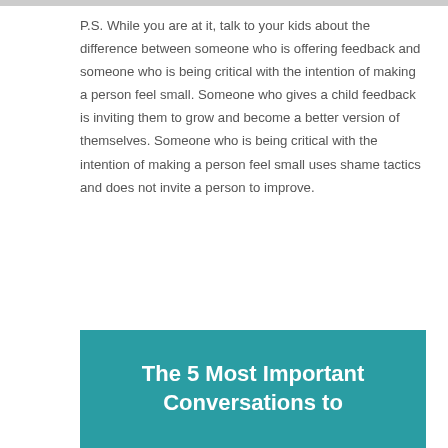P.S. While you are at it, talk to your kids about the difference between someone who is offering feedback and someone who is being critical with the intention of making a person feel small. Someone who gives a child feedback is inviting them to grow and become a better version of themselves. Someone who is being critical with the intention of making a person feel small uses shame tactics and does not invite a person to improve.
The 5 Most Important Conversations to